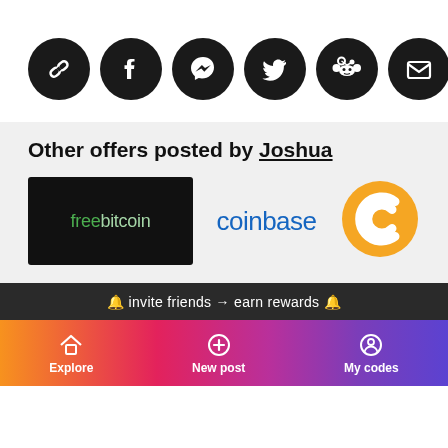[Figure (infographic): Row of 7 dark circular social share buttons: chain link, Facebook, Messenger, Twitter, Reddit, Email, and plus/more]
Other offers posted by Joshua
[Figure (logo): freebitcoin logo on black background]
[Figure (logo): coinbase logo in blue text]
[Figure (logo): Celsius network orange circular C logo]
🔔 invite friends → earn rewards 🔔
Explore   New post   My codes